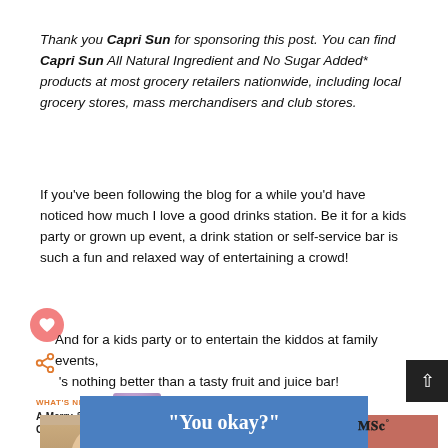Thank you Capri Sun for sponsoring this post. You can find Capri Sun All Natural Ingredient and No Sugar Added* products at most grocery retailers nationwide, including local grocery stores, mass merchandisers and club stores.
If you've been following the blog for a while you'd have noticed how much I love a good drinks station. Be it for a kids party or grown up event, a drink station or self-service bar is such a fun and relaxed way of entertaining a crowd!
And for a kids party or to entertain the kiddos at family events, 's nothing better than a tasty fruit and juice bar!
[Figure (screenshot): What's Next navigation widget with thumbnail and partial photo of smiling girl with red polka-dot item]
[Figure (screenshot): Blue advertisement bar with text 'You okay?' and logo mark]